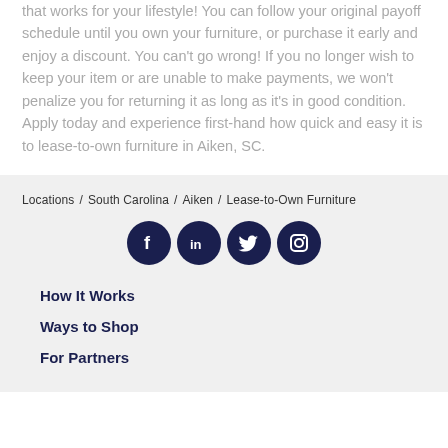that works for your lifestyle! You can follow your original payoff schedule until you own your furniture, or purchase it early and enjoy a discount. You can't go wrong! If you no longer wish to keep your item or are unable to make payments, we won't penalize you for returning it as long as it's in good condition. Apply today and experience first-hand how quick and easy it is to lease-to-own furniture in Aiken, SC.
Locations / South Carolina / Aiken / Lease-to-Own Furniture
[Figure (other): Four social media icons (Facebook, LinkedIn, Twitter, Instagram) as dark navy circular buttons]
How It Works
Ways to Shop
For Partners